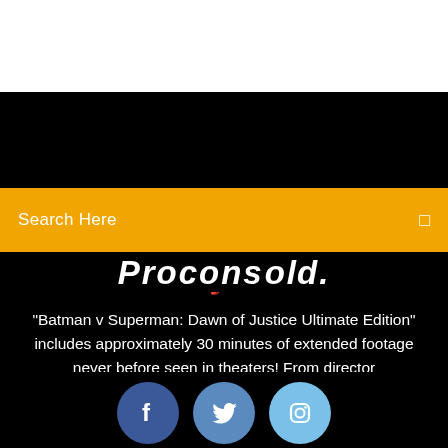Search Here
"Batman v Superman: Dawn of Justice Ultimate Edition" includes approximately 30 minutes of extended footage never before seen in theaters! From director
[Figure (illustration): Three social media icon circles: Facebook (dark blue), Twitter (medium blue), Instagram (light blue)]